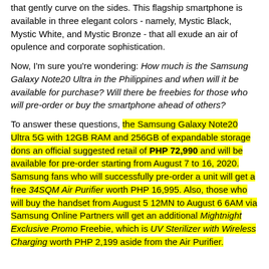that gently curve on the sides. This flagship smartphone is available in three elegant colors - namely, Mystic Black, Mystic White, and Mystic Bronze - that all exude an air of opulence and corporate sophistication.
Now, I'm sure you're wondering: How much is the Samsung Galaxy Note20 Ultra in the Philippines and when will it be available for purchase? Will there be freebies for those who will pre-order or buy the smartphone ahead of others?
To answer these questions, the Samsung Galaxy Note20 Ultra 5G with 12GB RAM and 256GB of expandable storage dons an official suggested retail of PHP 72,990 and will be available for pre-order starting from August 7 to 16, 2020. Samsung fans who will successfully pre-order a unit will get a free 34SQM Air Purifier worth PHP 16,995. Also, those who will buy the handset from August 5 12MN to August 6 6AM via Samsung Online Partners will get an additional Mightnight Exclusive Promo Freebie, which is UV Sterilizer with Wireless Charging worth PHP 2,199 aside from the Air Purifier.